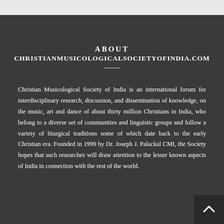ABOUT CHRISTIANMUSICOLOGICALSOCIETYOFINDIA.COM
Christian Musicological Society of India is an international forum for interdisciplinary research, discussion, and dissemination of knowledge, on the music, art and dance of about thirty million Christians in India, who belong to a diverse set of communities and linguistic groups and follow a variety of liturgical traditions some of which date back to the early Christian era. Founded in 1999 by Dr. Joseph J. Palackal CMI, the Society hopes that such researches will draw attention to the lesser known aspects of India in connection with the rest of the world.